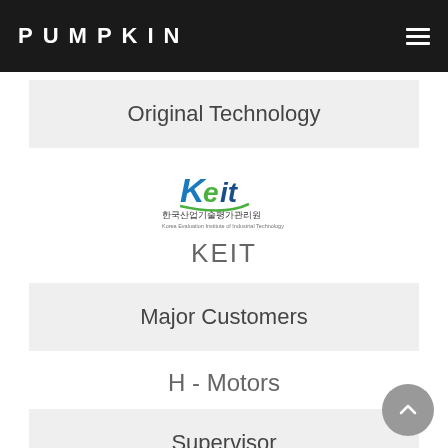PUMPKIN
Original Technology
[Figure (logo): KEIT (Korea Evaluation Institute of Industrial Technology) logo with Korean text 한국산업기술평가관리원]
KEIT
Major Customers
H - Motors
Supervisor